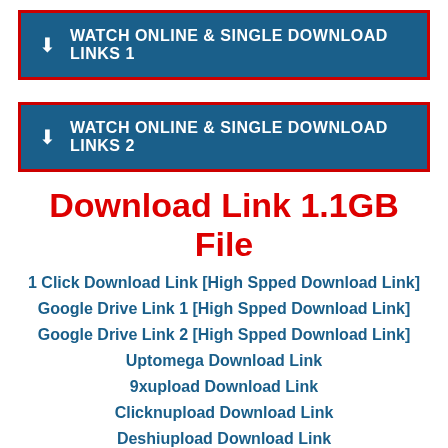[Figure (other): Blue button with red border: download icon and text 'WATCH ONLINE & SINGLE DOWNLOAD LINKS 1']
[Figure (other): Blue button with red border: download icon and text 'WATCH ONLINE & SINGLE DOWNLOAD LINKS 2']
Download Link 1.1GB File
1 Click Download Link [High Spped Download Link]
Google Drive Link 1 [High Spped Download Link]
Google Drive Link 2 [High Spped Download Link]
Uptomega Download Link
9xupload Download Link
Clicknupload Download Link
Deshiupload Download Link